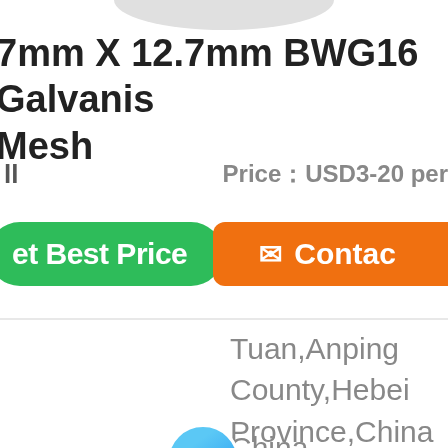[Figure (other): Top grey oval/arc partially visible at top center of page]
7mm X 12.7mm BWG16 Galvanised Mesh
ll    Price：USD3-20 per
[Figure (other): Green rounded button labeled 'et Best Price', overlapping blue chat bubble labeled 'Chat Now', and orange button labeled 'Contac']
Tuan,Anping County,Hebei Province,China China